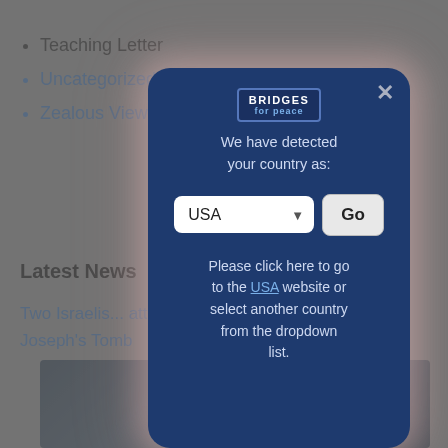Teaching Letter
Uncategorized
Zealous Views
Latest News
Two Israelis ... attack near Joseph's Tomb
[Figure (screenshot): A modal dialog overlay on a website. The modal has a dark blue background with the Bridges for Peace logo at the top. It displays text 'We have detected your country as:' with a USA dropdown selector and a Go button. Below is text: 'Please click here to go to the USA website or select another country from the dropdown list.']
[Figure (photo): A news photo partially visible at the bottom of the page, showing a building exterior with trees.]